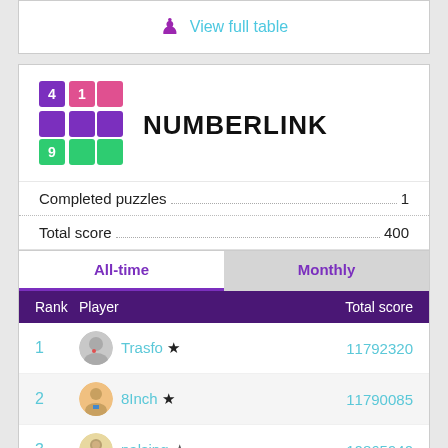[Figure (screenshot): Top card with trophy icon and 'View full table' link]
[Figure (logo): Numberlink app logo - colorful grid puzzle icon]
NUMBERLINK
Completed puzzles.....1
Total score.....400
| Rank | Player | Total score |
| --- | --- | --- |
| 1 | Trasfo ★ | 11792320 |
| 2 | 8Inch ★ | 11790085 |
| 3 | palsing ★ | 10865940 |
| 4 | lowrytommy ★ | 9446460 |